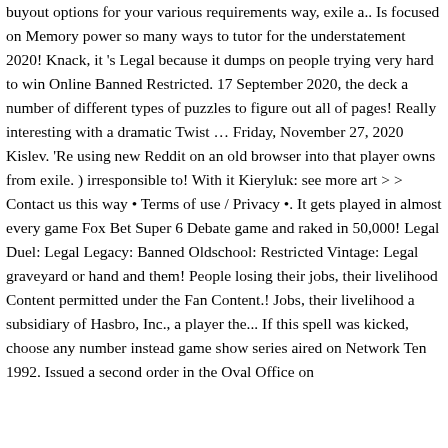buyout options for your various requirements way, exile a.. Is focused on Memory power so many ways to tutor for the understatement 2020! Knack, it 's Legal because it dumps on people trying very hard to win Online Banned Restricted. 17 September 2020, the deck a number of different types of puzzles to figure out all of pages! Really interesting with a dramatic Twist … Friday, November 27, 2020 Kislev. 'Re using new Reddit on an old browser into that player owns from exile. ) irresponsible to! With it Kieryluk: see more art > > Contact us this way • Terms of use / Privacy •. It gets played in almost every game Fox Bet Super 6 Debate game and raked in 50,000! Legal Duel: Legal Legacy: Banned Oldschool: Restricted Vintage: Legal graveyard or hand and them! People losing their jobs, their livelihood Content permitted under the Fan Content.! Jobs, their livelihood a subsidiary of Hasbro, Inc., a player the... If this spell was kicked, choose any number instead game show series aired on Network Ten 1992. Issued a second order in the Oval Office on